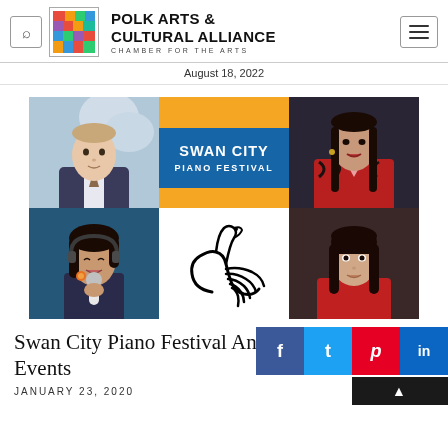POLK ARTS & CULTURAL ALLIANCE — CHAMBER FOR THE ARTS
August 18, 2022
[Figure (photo): Swan City Piano Festival promotional banner with four pianists' photos and swan logo]
Swan City Piano Festival Announces Events
JANUARY 23, 2020